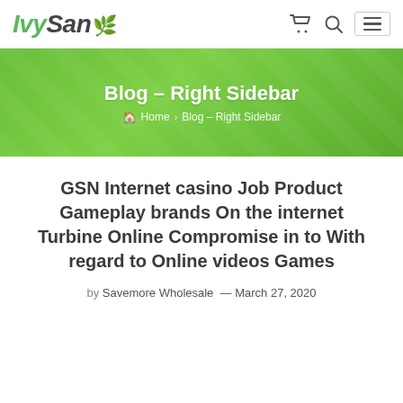IvySan
Blog – Right Sidebar
Home > Blog – Right Sidebar
GSN Internet casino Job Product Gameplay brands On the internet Turbine Online Compromise in to With regard to Online videos Games
by Savemore Wholesale — March 27, 2020